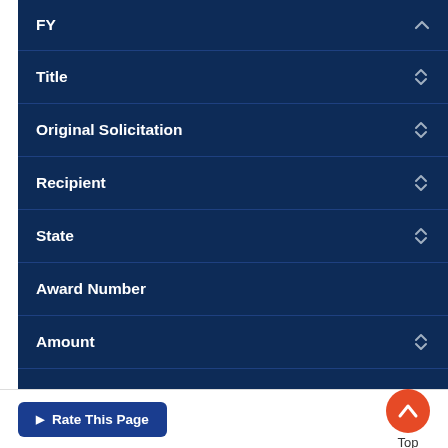| Column | Sort |
| --- | --- |
| FY | sort-up |
| Title | sort-updown |
| Original Solicitation | sort-updown |
| Recipient | sort-updown |
| State | sort-updown |
| Award Number |  |
| Amount | sort-updown |
| Status |  |
| $635,000 |  |
$635,000
Rate This Page | Top